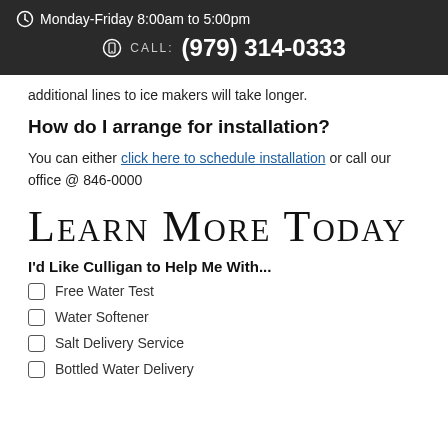Monday-Friday 8:00am to 5:00pm  CALL: (979) 314-0333
additional lines to ice makers will take longer.
How do I arrange for installation?
You can either click here to schedule installation or call our office @ 846-0000
Learn More Today
I'd Like Culligan to Help Me With...
Free Water Test
Water Softener
Salt Delivery Service
Bottled Water Delivery